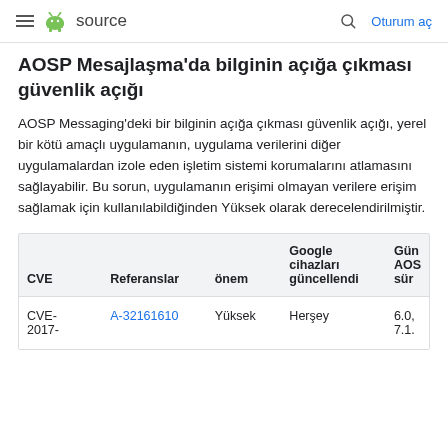≡  source   🔍  Oturum aç
AOSP Mesajlaşma'da bilginin açığa çıkması güvenlik açığı
AOSP Messaging'deki bir bilginin açığa çıkması güvenlik açığı, yerel bir kötü amaçlı uygulamanın, uygulama verilerini diğer uygulamalardan izole eden işletim sistemi korumalarını atlamasını sağlayabilir. Bu sorun, uygulamanın erişimi olmayan verilere erişim sağlamak için kullanılabildiğinden Yüksek olarak derecelendirilmiştir.
| CVE | Referanslar | önem | Google cihazları güncellendi | Gün AOS sür |
| --- | --- | --- | --- | --- |
| CVE-2017- | A-32161610 | Yüksek | Herşey | 6.0, 7.1. |